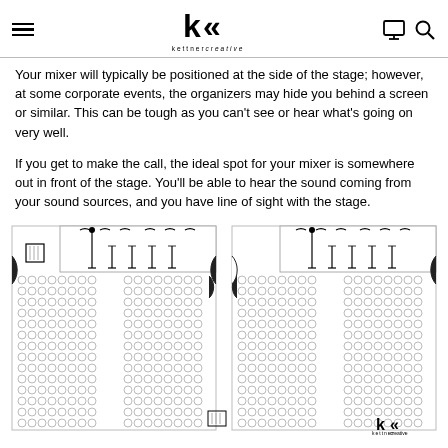kettner creative (logo/navigation header)
Your mixer will typically be positioned at the side of the stage; however, at some corporate events, the organizers may hide you behind a screen or similar. This can be tough as you can't see or hear what's going on very well.
If you get to make the call, the ideal spot for your mixer is somewhere out in front of the stage. You'll be able to hear the sound coming from your sound sources, and you have line of sight with the stage.
[Figure (illustration): Diagram of a theatre/auditorium seating layout showing two halves side by side, each with a stage area at the top containing microphone stands and speakers, and rows of audience seats (shown as circles) below. Speakers/monitors visible at the sides.]